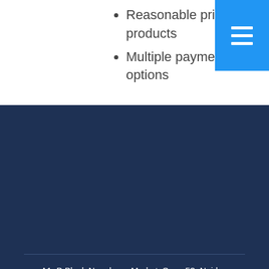Reasonable prices of products
Multiple payment options
[Figure (other): Blue hamburger menu icon button in top-right corner]
A1, B Block Nav durga Market, Sec - 53, Noida - 201306, Uttar Pradesh, India
Phone :08045814314
Mr. Manish (Partner)
Mobile :08045814314
Send Inquiry
SEND SMS    SEND INQUIRY